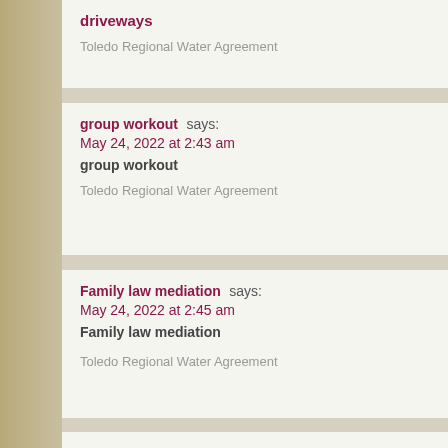driveways
Toledo Regional Water Agreement
group workout says:
May 24, 2022 at 2:43 am
group workout

Toledo Regional Water Agreement
Family law mediation says:
May 24, 2022 at 2:45 am
Family law mediation

Toledo Regional Water Agreement
Dating profile writer says:
May 24, 2022 at 2:54 am
Dating profile writer

Toledo Regional Water Agreement